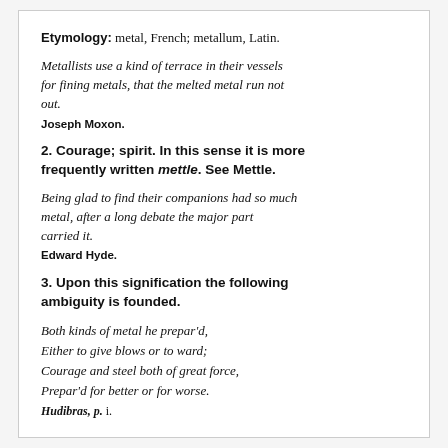Etymology: metal, French; metallum, Latin.
Metallists use a kind of terrace in their vessels for fining metals, that the melted metal run not out.
Joseph Moxon.
2. Courage; spirit. In this sense it is more frequently written mettle. See Mettle.
Being glad to find their companions had so much metal, after a long debate the major part carried it.
Edward Hyde.
3. Upon this signification the following ambiguity is founded.
Both kinds of metal he prepar'd, Either to give blows or to ward; Courage and steel both of great force, Prepar'd for better or for worse.
Hudibras, p. i.